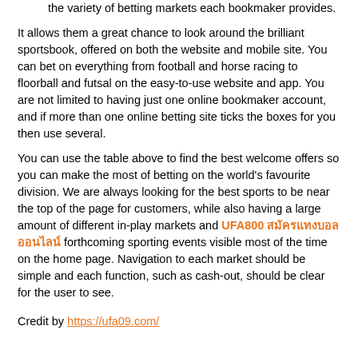the variety of betting markets each bookmaker provides.
It allows them a great chance to look around the brilliant sportsbook, offered on both the website and mobile site. You can bet on everything from football and horse racing to floorball and futsal on the easy-to-use website and app. You are not limited to having just one online bookmaker account, and if more than one online betting site ticks the boxes for you then use several.
You can use the table above to find the best welcome offers so you can make the most of betting on the world's favourite division. We are always looking for the best sports to be near the top of the page for customers, while also having a large amount of different in-play markets and UFA800 สมัครแทงบอล forthcoming sporting events visible most of the time on the home page. Navigation to each market should be simple and each function, such as cash-out, should be clear for the user to see.
Credit by https://ufa09.com/